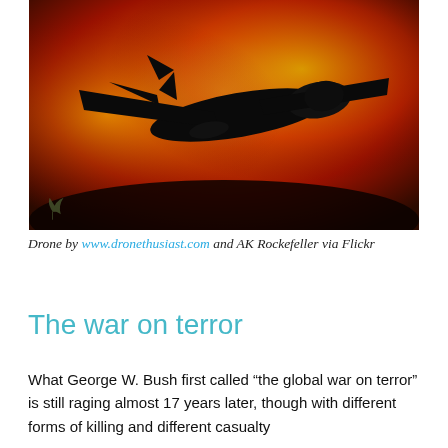[Figure (illustration): Silhouette of a military surveillance drone (resembling a Global Hawk) against a fiery orange, red, and yellow smoky background. A small plant/leaf watermark is visible in the lower-left corner of the image.]
Drone by www.dronethusiast.com and AK Rockefeller via Flickr
The war on terror
What George W. Bush first called “the global war on terror” is still raging almost 17 years later, though with different forms of killing and different casualty